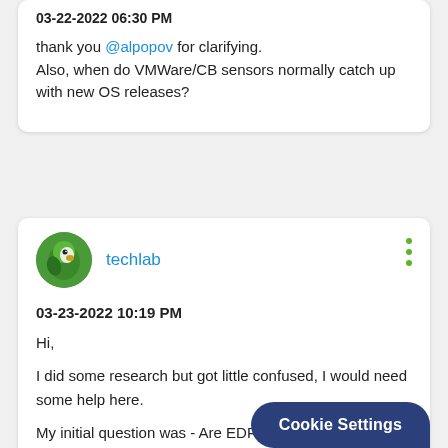03-22-2022 06:30 PM
thank you @alpopov for clarifying. Also, when do VMWare/CB sensors normally catch up with new OS releases?
techlab
03-23-2022 10:19 PM
Hi,
I did some research but got little confused, I would need some help here.
My initial question was - Are EDR sensor supported on Amazon Linux 1 and Amaz
Cookie Settings